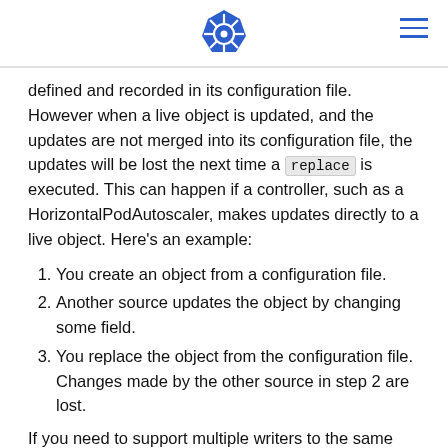Kubernetes logo and navigation menu
defined and recorded in its configuration file. However when a live object is updated, and the updates are not merged into its configuration file, the updates will be lost the next time a replace is executed. This can happen if a controller, such as a HorizontalPodAutoscaler, makes updates directly to a live object. Here's an example:
1. You create an object from a configuration file.
2. Another source updates the object by changing some field.
3. You replace the object from the configuration file. Changes made by the other source in step 2 are lost.
If you need to support multiple writers to the same